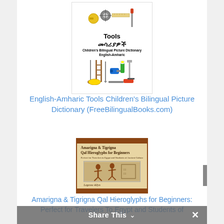[Figure (illustration): Book cover: Tools / መሳሪያዎች - Children's Bilingual Picture Dictionary English-Amharic, with illustrations of tools (tape measure, saw, ruler, screwdriver, shovel, ladder, chisel, drill, flashlight, nail, helmet, file, chainsaw)]
English-Amharic Tools Children's Bilingual Picture Dictionary (FreeBilingualBooks.com)
[Figure (illustration): Book cover: Amarigna & Tigrigna Qal Hieroglyphs for Beginners: Perfect for Travelers To Egypt and Students of Ancient Language, by Legesse Allyn. Brown bordered cover with Egyptian figure painting.]
Amarigna & Tigrigna Qal Hieroglyphs for Beginners: Perfect for Travelers To Egypt and Students of
Share This ∨  ×